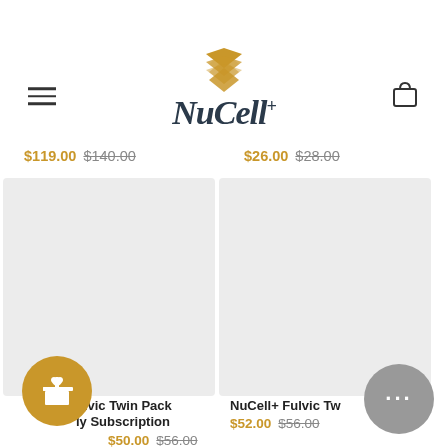NuCell+
$119.00 $140.00   $26.00 $28.00
[Figure (photo): Product image placeholder - light gray rectangle (left product card)]
[Figure (photo): Product image placeholder - light gray rectangle (right product card)]
NuCell+ Fulvic Twin Pack Monthly Subscription
$50.00 $56.00
NuCell+ Fulvic Twin Pack
$52.00 $56.00